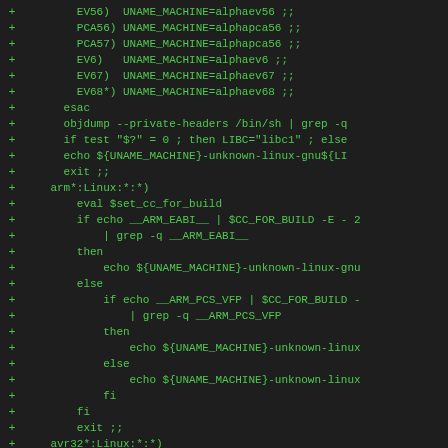Diff/patch code snippet showing shell script additions for machine name detection
+ EV56) UNAME_MACHINE=alphaev56 ;;
+ PCA56) UNAME_MACHINE=alphapca56 ;;
+ PCA57) UNAME_MACHINE=alphapca56 ;;
+ EV6) UNAME_MACHINE=alphaev6 ;;
+ EV67) UNAME_MACHINE=alphaev67 ;;
+ EV68*) UNAME_MACHINE=alphaev68 ;;
+ esac
+ objdump --private-headers /bin/sh | grep -q
+ if test "$?" = 0 ; then LIBC="libc1" ; else
+ echo ${UNAME_MACHINE}-unknown-linux-gnu${LI
+ exit ;;
+ arm*:Linux:*:*)
+ eval $set_cc_for_build
+ if echo __ARM_EABI__ | $CC_FOR_BUILD -E - 2
++ | grep -q __ARM_EABI__
+ then
+ echo ${UNAME_MACHINE}-unknown-linux-gnu
+ else
+ if echo __ARM_PCS_VFP | $CC_FOR_BUILD -
++ | grep -q __ARM_PCS_VFP
+ then
+ echo ${UNAME_MACHINE}-unknown-linux
+ else
+ echo ${UNAME_MACHINE}-unknown-linux
+ fi
+ fi
+ exit ;;
+ avr32*:Linux:*:*)
+ echo ${UNAME_MACHINE}-unknown-linux-gnu
+ exit ;;